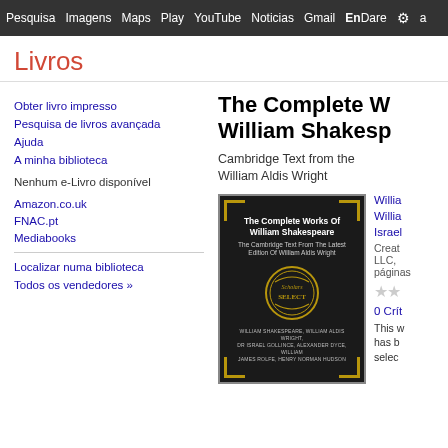Pesquisa  Imagens  Maps  Play  YouTube  Noticias  Gmail  EnDare  ⚙  a
Livros
Obter livro impresso
Pesquisa de livros avançada
Ajuda
A minha biblioteca
Nenhum e-Livro disponível
Amazon.co.uk
FNAC.pt
Mediabooks
Localizar numa biblioteca
Todos os vendedores »
The Complete W William Shakesp
Cambridge Text from the William Aldis Wright
[Figure (photo): Book cover of The Complete Works Of William Shakespeare, black cover with gold corners and Scholar Select seal]
Willia Willia Israel
Creat LLC, páginas
0 Crít
This w has b selec